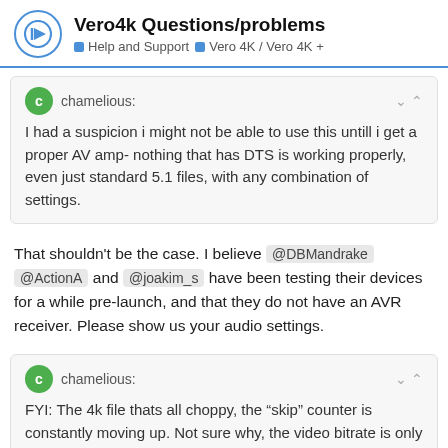Vero4k Questions/problems | Help and Support > Vero 4K / Vero 4K +
chamelious: I had a suspicion i might not be able to use this untill i get a proper AV amp- nothing that has DTS is working properly, even just standard 5.1 files, with any combination of settings.
That shouldn't be the case. I believe @DBMandrake @ActionA and @joakim_s have been testing their devices for a while pre-launch, and that they do not have an AVR receiver. Please show us your audio settings.
chamelious: FYI: The 4k file thats all choppy, the "skip" counter is constantly moving up. Not sure why, the video bitrate is only 5-7Mb/s ish.
I need a log, MediaInfo and a sample clip. Refresh Rate enabled? I would recommend
12 / 50